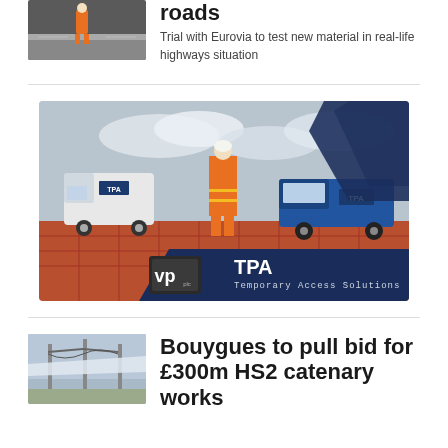roads
Trial with Eurovia to test new material in real-life highways situation
[Figure (photo): TPA Temporary Access Solutions promotional image showing a worker in orange hi-vis suit walking among white and blue vans/pickup trucks branded TPA, on a red metal access platform. Dark navy geometric shapes overlay the top-right and bottom portions. Bottom section shows VP plc TPA logo with text 'Temporary Access Solutions'.]
Bouygues to pull bid for £300m HS2 catenary works